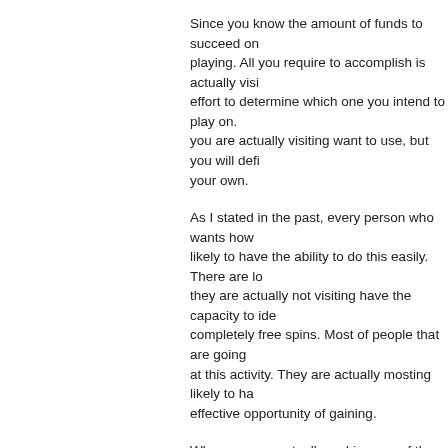Since you know the amount of funds to succeed on playing. All you require to accomplish is actually visi effort to determine which one you intend to play on. you are actually visiting want to use, but you will defi your own.
As I stated in the past, every person who wants how likely to have the ability to do this easily. There are lo they are actually not visiting have the capacity to ide completely free spins. Most of people that are going at this activity. They are actually mosting likely to ha effective opportunity of gaining.
When you are actually making use of the totally free you, another trait that you will certainly yearn for to c actually heading to require to determine exactly how understand which websites possess the most ideal p wish to figure out just how to create one of the most rotates.
Once you have actually discovered a website that po be sure that you utilize it. See to it that you use a da consistently. You are going to prefer to get some add web site that you participate in on.
When you are learning how to get piece expert free sure that you monitor your reductions as well as win